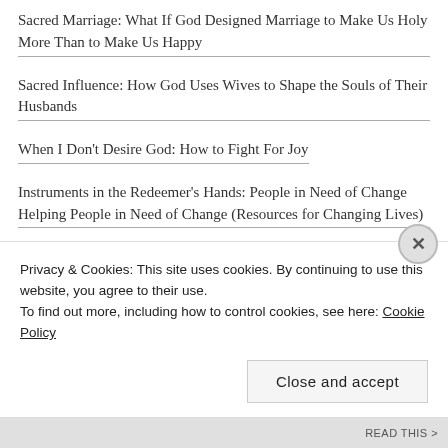Sacred Marriage: What If God Designed Marriage to Make Us Holy More Than to Make Us Happy
Sacred Influence: How God Uses Wives to Shape the Souls of Their Husbands
When I Don't Desire God: How to Fight For Joy
Instruments in the Redeemer's Hands: People in Need of Change Helping People in Need of Change (Resources for Changing Lives)
How People Change
Don't Waste Your Life Study Guide
Think (Paperback Edition): The Life of the Mind and the Love
Privacy & Cookies: This site uses cookies. By continuing to use this website, you agree to their use.
To find out more, including how to control cookies, see here: Cookie Policy
Close and accept